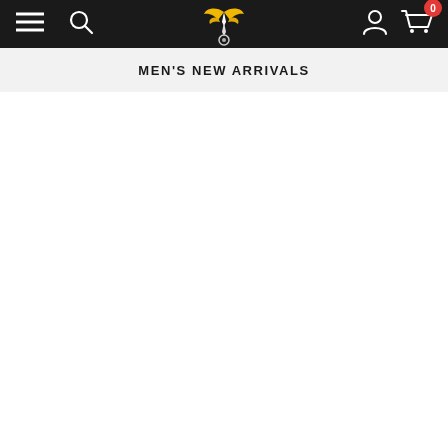Navigation bar with hamburger menu, search icon, logo, account icon, and cart with badge 0
MEN'S NEW ARRIVALS